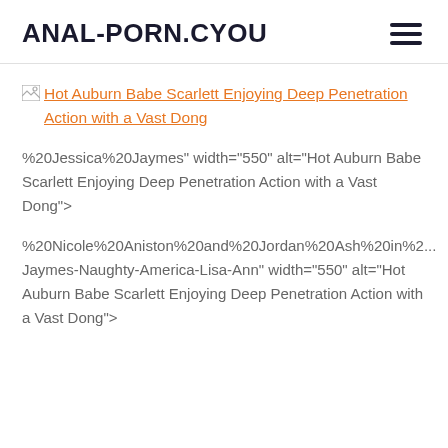ANAL-PORN.CYOU
Hot Auburn Babe Scarlett Enjoying Deep Penetration Action with a Vast Dong
%20Jessica%20Jaymes" width="550" alt="Hot Auburn Babe Scarlett Enjoying Deep Penetration Action with a Vast Dong">
%20Nicole%20Aniston%20and%20Jordan%20Ash%20in%2... Jaymes-Naughty-America-Lisa-Ann" width="550" alt="Hot Auburn Babe Scarlett Enjoying Deep Penetration Action with a Vast Dong">